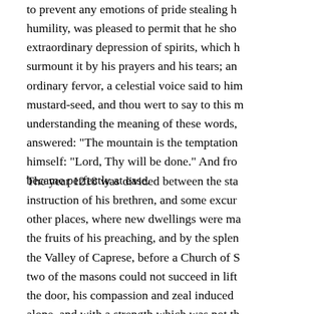to prevent any emotions of pride stealing in humility, was pleased to permit that he sho extraordinary depression of spirits, which h surmount it by his prayers and his tears; an ordinary fervor, a celestial voice said to him mustard-seed, and thou wert to say to this m understanding the meaning of these words, answered: "The mountain is the temptation himself: "Lord, Thy will be done." And fro became perfectly at ease.
The year 1218 was divided between the sta instruction of his brethren, and some excur other places, where new dwellings were ma the fruits of his preaching, and by the splen the Valley of Caprese, before a Church of S two of the masons could not succeed in lift the door, his compassion and zeal induced alone, and with a strength which was not th